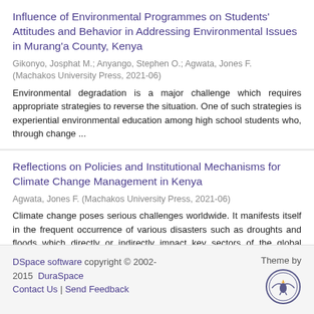Influence of Environmental Programmes on Students' Attitudes and Behavior in Addressing Environmental Issues in Murang'a County, Kenya
Gikonyo, Josphat M.; Anyango, Stephen O.; Agwata, Jones F. (Machakos University Press, 2021-06)
Environmental degradation is a major challenge which requires appropriate strategies to reverse the situation. One of such strategies is experiential environmental education among high school students who, through change ...
Reflections on Policies and Institutional Mechanisms for Climate Change Management in Kenya
Agwata, Jones F. (Machakos University Press, 2021-06)
Climate change poses serious challenges worldwide. It manifests itself in the frequent occurrence of various disasters such as droughts and floods which directly or indirectly impact key sectors of the global economy. In ...
DSpace software copyright © 2002-2015 DuraSpace | Contact Us | Send Feedback | Theme by